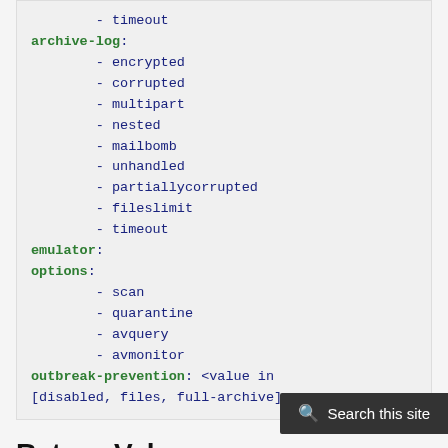- timeout
archive-log:
- encrypted
- corrupted
- multipart
- nested
- mailbomb
- unhandled
- partiallycorrupted
- fileslimit
- timeout
emulator: <value in [disable, enable]>
options:
- scan
- quarantine
- avquery
- avmonitor
outbreak-prevention: <value in [disabled, files, full-archive]>
Return Values
Common return values are documented